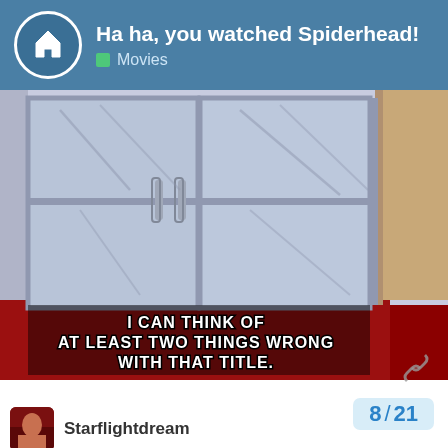Ha ha, you watched Spiderhead! • Movies
[Figure (screenshot): Animated scene showing sliding glass doors in a room with a red floor. White subtitle text reads: I CAN THINK OF AT LEAST TWO THINGS WRONG WITH THAT TITLE.]
8 / 21
Starflightdream